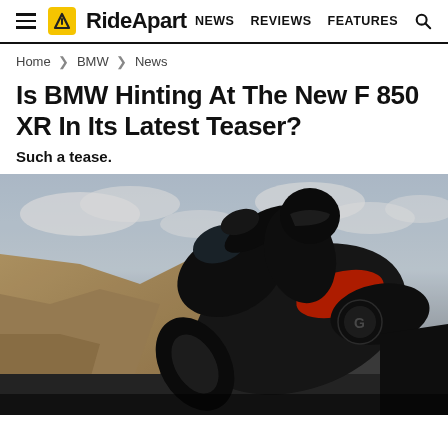RideApart — NEWS  REVIEWS  FEATURES
Home > BMW > News
Is BMW Hinting At The New F 850 XR In Its Latest Teaser?
Such a tease.
[Figure (photo): A BMW motorcycle leaning into a curve on a mountain road, photographed from a low angle. The rider and bike are largely in silhouette against a cloudy sky with sandy cliffs in the background. Red and black bodywork is visible.]